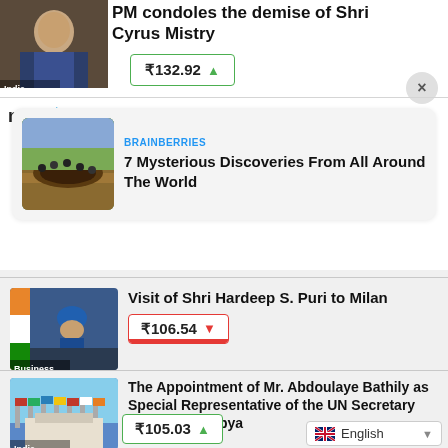[Figure (photo): Partial news article thumbnail of a man in suit, with India badge, and partial headline 'PM condoles the demise of Shri Cyrus Mistry' with green stock ticker ₹132.92 and up arrow]
[Figure (logo): MGID logo with play button icon]
[Figure (photo): Brainberries card showing aerial excavation/sinkhole image with people, headline '7 Mysterious Discoveries From All Around The World']
Visit of Shri Hardeep S. Puri to Milan
[Figure (photo): Thumbnail of man in blue turban at desk with Indian flag, Business badge, red ticker ₹106.54 with down arrow]
The Appointment of Mr. Abdoulaye Bathily as Special Representative of the UN Secretary General for Libya
[Figure (photo): Thumbnail of UN flags building, India badge, green ticker ₹105.03 with up arrow]
English